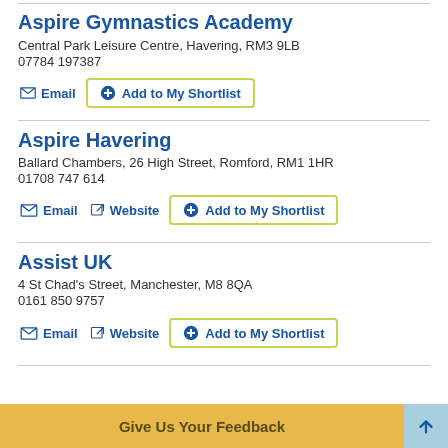Aspire Gymnastics Academy
Central Park Leisure Centre, Havering, RM3 9LB
07784 197387
Aspire Havering
Ballard Chambers, 26 High Street, Romford, RM1 1HR
01708 747 614
Assist UK
4 St Chad's Street, Manchester, M8 8QA
0161 850 9757
Give Us Your Feedback